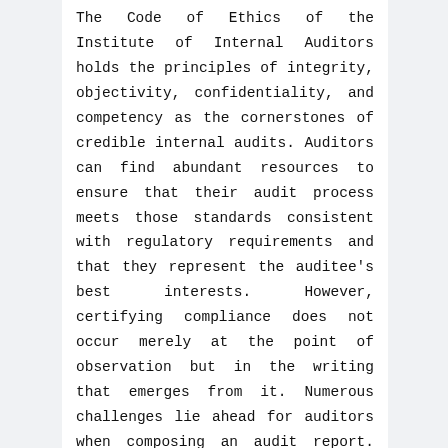The Code of Ethics of the Institute of Internal Auditors holds the principles of integrity, objectivity, confidentiality, and competency as the cornerstones of credible internal audits. Auditors can find abundant resources to ensure that their audit process meets those standards consistent with regulatory requirements and that they represent the auditee's best interests. However, certifying compliance does not occur merely at the point of observation but in the writing that emerges from it. Numerous challenges lie ahead for auditors when composing an audit report. They want to ensure that they clearly articulate a comprehensive review process, valid and reliable criteria, conditions logically linked to causes, relevant and risks, and beneficial recommendations-all with an